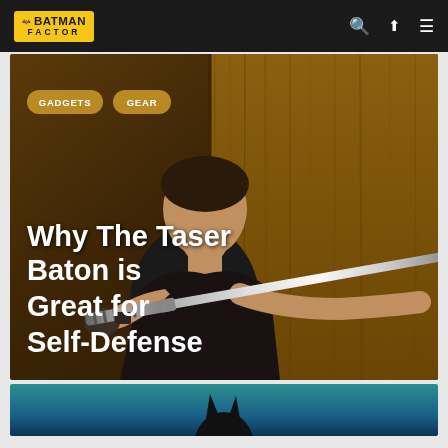Batman Factor — navigation header with logo, search, share, and menu icons
[Figure (illustration): Hero image showing a comic-book styled illustration of a man wielding a taser baton against a wooden door background, with category pill tags 'GADGETS' and 'GEAR' overlaid, and the article title 'Why The Taser Baton is Great for Self-Defense' in white text]
[Figure (photo): Partial second image at bottom showing a dark figure (Batman) against a teal/blue background, cropped]